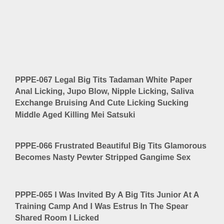PPPE-067 Legal Big Tits Tadaman White Paper Anal Licking, Jupo Blow, Nipple Licking, Saliva Exchange Bruising And Cute Licking Sucking Middle Aged Killing Mei Satsuki
PPPE-066 Frustrated Beautiful Big Tits Glamorous Becomes Nasty Pewter Stripped Gangime Sex
PPPE-065 I Was Invited By A Big Tits Junior At A Training Camp And I Was Estrus In The Spear Shared Room I Licked